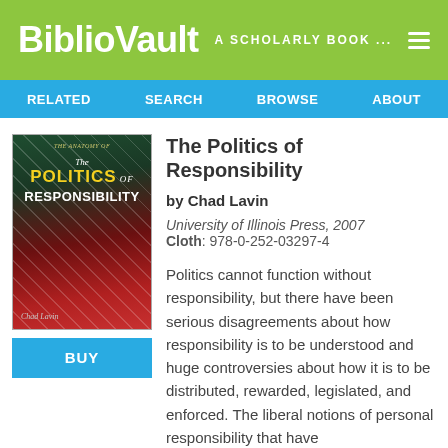BiblioVault  A SCHOLARLY BOOK ...
RELATED  SEARCH  BROWSE  ABOUT
[Figure (illustration): Book cover for The Politics of Responsibility by Chad Lavin. Dark green and red tones with title text.]
The Politics of Responsibility
by Chad Lavin
University of Illinois Press, 2007
Cloth: 978-0-252-03297-4
Politics cannot function without responsibility, but there have been serious disagreements about how responsibility is to be understood and huge controversies about how it is to be distributed, rewarded, legislated, and enforced. The liberal notions of personal responsibility that have